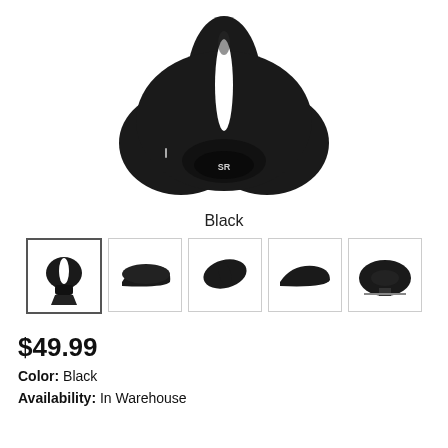[Figure (photo): Main product image of a black bicycle saddle viewed from above/front, showing its ergonomic shape with center cutout and SR logo]
Black
[Figure (photo): Five thumbnail images of the black bicycle saddle from different angles: front, side profile left, top angled, side profile right, rear]
$49.99
Color: Black
Availability: In Warehouse